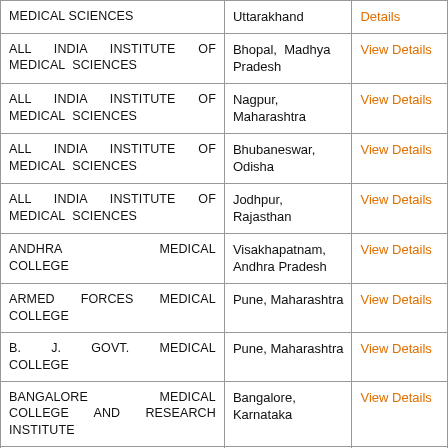| Institution | Location | Link |
| --- | --- | --- |
| MEDICAL SCIENCES | Uttarakhand | View Details |
| ALL INDIA INSTITUTE OF MEDICAL SCIENCES | Bhopal, Madhya Pradesh | View Details |
| ALL INDIA INSTITUTE OF MEDICAL SCIENCES | Nagpur, Maharashtra | View Details |
| ALL INDIA INSTITUTE OF MEDICAL SCIENCES | Bhubaneswar, Odisha | View Details |
| ALL INDIA INSTITUTE OF MEDICAL SCIENCES | Jodhpur, Rajasthan | View Details |
| ANDHRA MEDICAL COLLEGE | Visakhapatnam, Andhra Pradesh | View Details |
| ARMED FORCES MEDICAL COLLEGE | Pune, Maharashtra | View Details |
| B. J. GOVT. MEDICAL COLLEGE | Pune, Maharashtra | View Details |
| BANGALORE MEDICAL COLLEGE AND RESEARCH INSTITUTE | Bangalore, Karnataka | View Details |
| BANKURA SAMMILANI MEDICAL COLLEGE | Bankura, West Bengal | View Details |